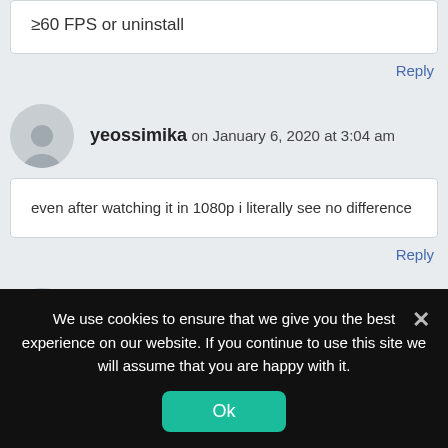≥60 FPS or uninstall
Reply
yeossimika on January 6, 2020 at 3:04 am
even after watching it in 1080p i literally see no difference
Reply
Lennard Ehlers on January 6, 2020 at 3:05 am
We use cookies to ensure that we give you the best experience on our website. If you continue to use this site we will assume that you are happy with it.